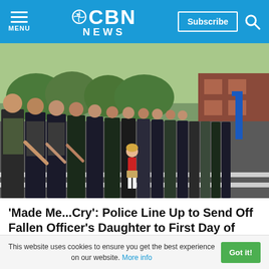CBN NEWS
[Figure (photo): A line of police officers in uniform bending down and reaching toward a small girl in a red shirt and khaki skirt walking past them in a parking lot, with a brick building visible in the background.]
'Made Me...Cry': Police Line Up to Send Off Fallen Officer's Daughter to First Day of Kindergarten
This website uses cookies to ensure you get the best experience on our website. More info